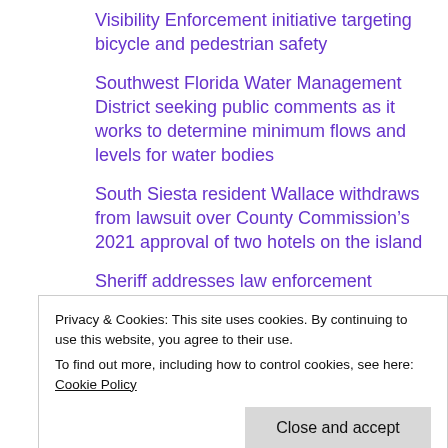Visibility Enforcement initiative targeting bicycle and pedestrian safety
Southwest Florida Water Management District seeking public comments as it works to determine minimum flows and levels for water bodies
South Siesta resident Wallace withdraws from lawsuit over County Commission’s 2021 approval of two hotels on the island
Sheriff addresses law enforcement concerns on Siesta Key, including Memorial Day
Privacy & Cookies: This site uses cookies. By continuing to use this website, you agree to their use.
To find out more, including how to control cookies, see here: Cookie Policy
Pittsburgh man files suit against Kompothecras over incident at Crescent Club